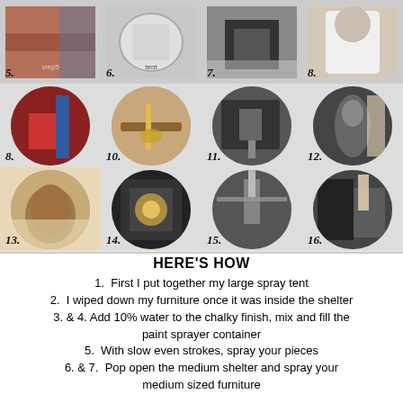[Figure (photo): 3x4 grid of step-by-step DIY furniture refinishing photos (steps 5-16), with circular and rectangular photo frames, each labeled with a step number]
HERE'S HOW
1.  First I put together my large spray tent
2.  I wiped down my furniture once it was inside the shelter
3. & 4. Add 10% water to the chalky finish, mix and fill the paint sprayer container
5.  With slow even strokes, spray your pieces
6. & 7.  Pop open the medium shelter and spray your medium sized furniture